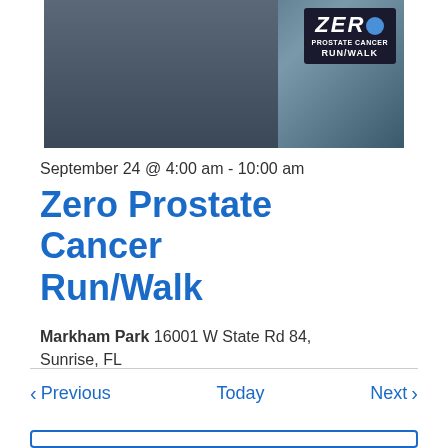[Figure (photo): Photo of runners/walkers at a Zero Prostate Cancer Run/Walk event, with the event logo visible in the upper right corner showing 'ZERO PROSTATE CANCER RUN/WALK']
September 24 @ 4:00 am - 10:00 am
Zero Prostate Cancer Run/Walk
Markham Park 16001 W State Rd 84, Sunrise, FL
< Previous   Today   Next >